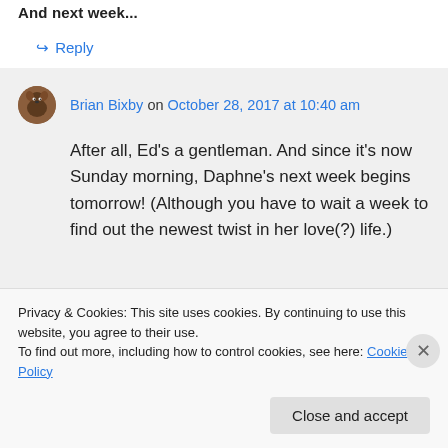And next week...
↪ Reply
Brian Bixby on October 28, 2017 at 10:40 am
After all, Ed's a gentleman. And since it's now Sunday morning, Daphne's next week begins tomorrow! (Although you have to wait a week to find out the newest twist in her love(?) life.)
Privacy & Cookies: This site uses cookies. By continuing to use this website, you agree to their use. To find out more, including how to control cookies, see here: Cookie Policy
Close and accept